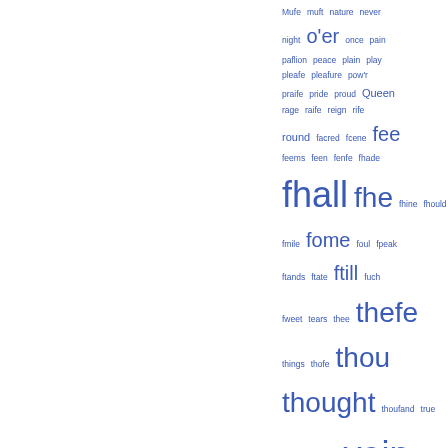[Figure (other): A word cloud / alphabetical word frequency index displayed in varying font sizes and blue color, showing words: Mufe, muft, nature, never, night, o'er, once, pain, paflion, peace, plain, play, pleafe, pleafure, pow'r, praife, pride, proud, Queen, rage, raife, reign, rife, round, facred, fcene, fee, feems, feen, fenfe, fhade, fhall, fhe, fhine, fhould, fmile, fome, foul, fpeak, ftands, ftate, ftill, fuch, fweet, tears, thee, thefe, things, thofe, thou, thought, thoufand, true, truth, turn, ufe, vain, virtue, whofe, wild, wind, youth]